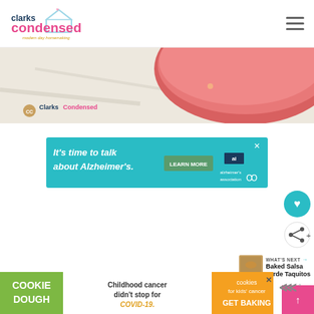[Figure (logo): Clarks Condensed logo with house icon and tagline 'modern day homemaking']
[Figure (photo): Hero image showing a pink/red bowl on a light surface with ClarksCondensed watermark]
[Figure (infographic): Teal advertisement banner: It's time to talk about Alzheimer's. LEARN MORE - Alzheimer's association logo]
[Figure (infographic): Cookie Dough / Childhood cancer didn't stop for COVID-19 / cookies for kids cancer GET BAKING advertisement banner]